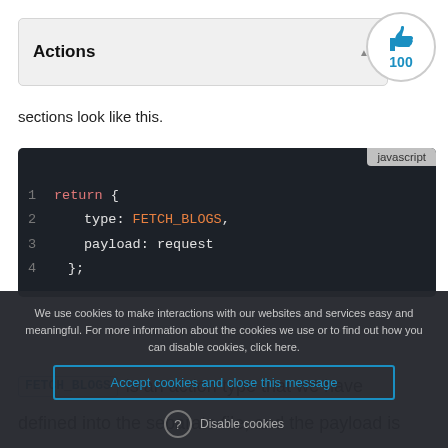Actions
sections look like this.
[Figure (screenshot): JavaScript code block showing: 1 return { 2 type: FETCH_BLOGS, 3 payload: request 4 };]
FETCH_BLOGS is an action type that we have
defined into the separate file, and the payload is
We use cookies to make interactions with our websites and services easy and meaningful. For more information about the cookies we use or to find out how you can disable cookies, click here.
Accept cookies and close this message
Disable cookies